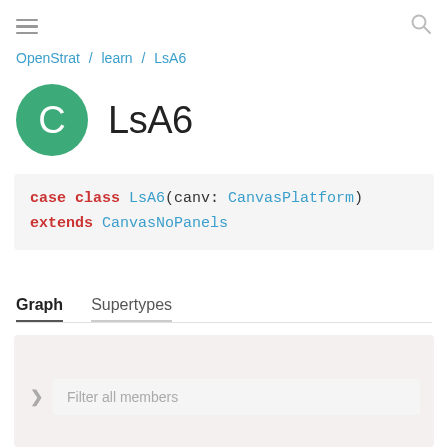OpenStrat / learn / LsA6
LsA6
Graph   Supertypes
Filter all members